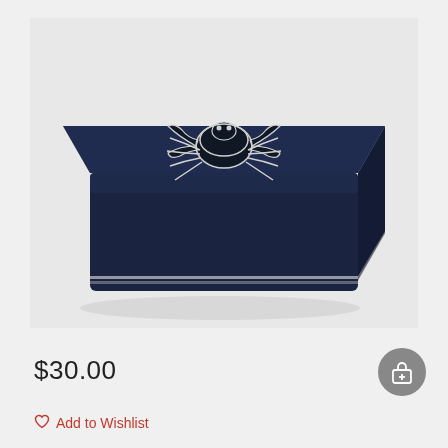[Figure (photo): A dark navy blue decorative box with a white crab design etched on the lid, photographed at an angle showing the top and front face. The box has a shiny lacquered finish with a white trim line near the base.]
$30.00
Add to Wishlist